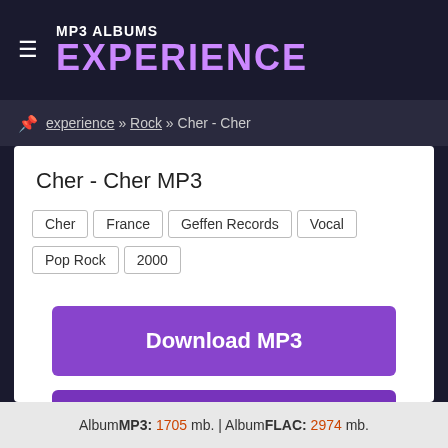MP3 ALBUMS EXPERIENCE
experience » Rock » Cher - Cher
Cher - Cher MP3
Cher
France
Geffen Records
Vocal
Pop Rock
2000
Download MP3
Download FLAC
Album MP3: 1705 mb. | Album FLAC: 2974 mb.